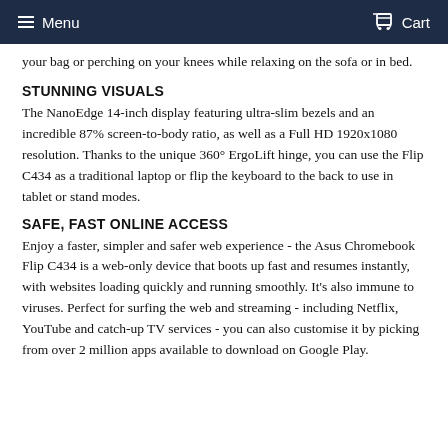Menu   Cart
your bag or perching on your knees while relaxing on the sofa or in bed.
STUNNING VISUALS
The NanoEdge 14-inch display featuring ultra-slim bezels and an incredible 87% screen-to-body ratio, as well as a Full HD 1920x1080 resolution. Thanks to the unique 360° ErgoLift hinge, you can use the Flip C434 as a traditional laptop or flip the keyboard to the back to use in tablet or stand modes.
SAFE, FAST ONLINE ACCESS
Enjoy a faster, simpler and safer web experience - the Asus Chromebook Flip C434 is a web-only device that boots up fast and resumes instantly, with websites loading quickly and running smoothly. It's also immune to viruses. Perfect for surfing the web and streaming - including Netflix, YouTube and catch-up TV services - you can also customise it by picking from over 2 million apps available to download on Google Play.